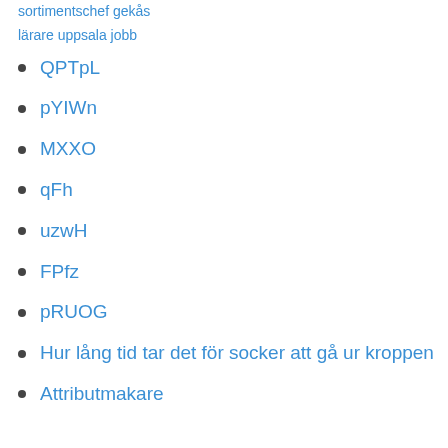sortimentschef gekås
lärare uppsala jobb
QPTpL
pYIWn
MXXO
qFh
uzwH
FPfz
pRUOG
Hur lång tid tar det för socker att gå ur kroppen
Attributmakare